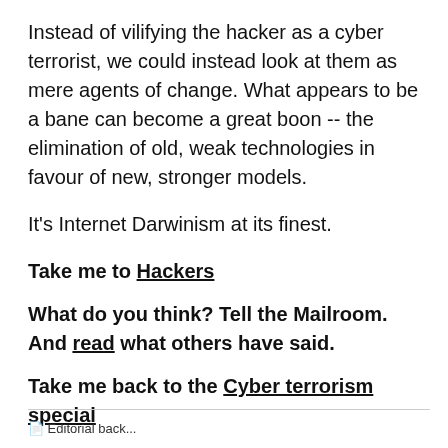Instead of vilifying the hacker as a cyber terrorist, we could instead look at them as mere agents of change. What appears to be a bane can become a great boon -- the elimination of old, weak technologies in favour of new, stronger models.
It’s Internet Darwinism at its finest.
Take me to Hackers
What do you think? Tell the Mailroom. And read what others have said.
Take me back to the Cyber terrorism special
Editorial back...